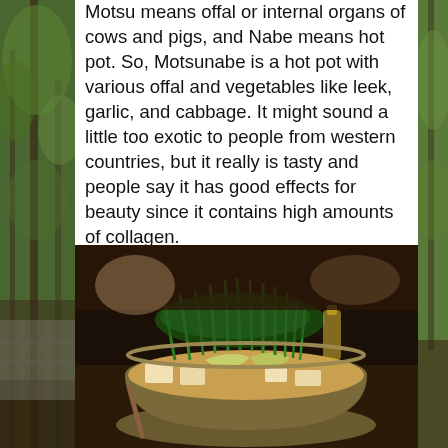Motsu means offal or internal organs of cows and pigs, and Nabe means hot pot. So, Motsunabe is a hot pot with various offal and vegetables like leek, garlic, and cabbage. It might sound a little too exotic to people from western countries, but it really is tasty and people say it has good effects for beauty since it contains high amounts of collagen.
[Figure (photo): A hot pot (Motsunabe) in a large metal bowl containing green vegetables including leek/chives on top, cabbage, and tofu in broth, on a table in a restaurant setting.]